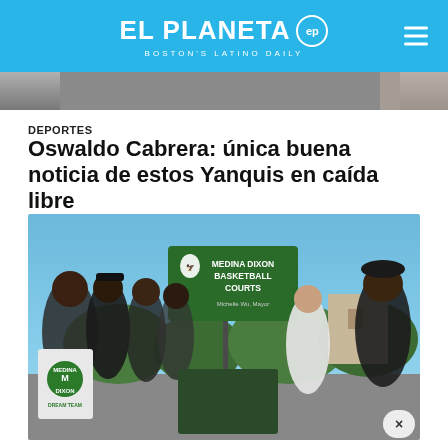EL PLANETA ep — BOSTON'S LATINO DAILY
[Figure (photo): Partial view of a person at the top of the page, cropped image strip]
DEPORTES
Oswaldo Cabrera: única buena noticia de estos Yanquis en caída libre
[Figure (photo): Group of people gathered around a green street sign reading 'MEDINA DIXON BASKETBALL COURTS' with a Boston Parks & Recreation eagle logo. A woman on the left holds a jersey/banner reading 'MEDINA DIXON DREAM TEAM' with a green heart and 'MD' logo. A man in a black beret stands on the right. A man in a white shirt is visible in the background. The event appears to be an outdoor dedication ceremony.]